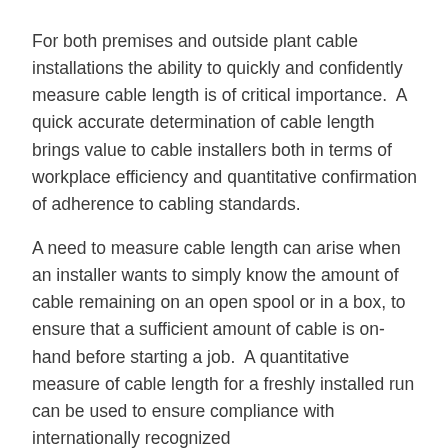For both premises and outside plant cable installations the ability to quickly and confidently measure cable length is of critical importance.  A quick accurate determination of cable length brings value to cable installers both in terms of workplace efficiency and quantitative confirmation of adherence to cabling standards.
A need to measure cable length can arise when an installer wants to simply know the amount of cable remaining on an open spool or in a box, to ensure that a sufficient amount of cable is on-hand before starting a job.  A quantitative measure of cable length for a freshly installed run can be used to ensure compliance with internationally recognized